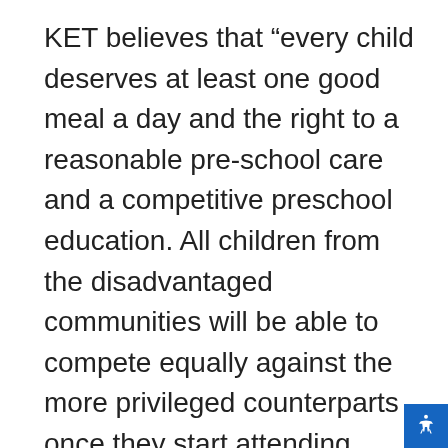KET believes that “every child deserves at least one good meal a day and the right to a reasonable pre-school care and a competitive preschool education. All children from the disadvantaged communities will be able to compete equally against the more privileged counterparts once they start attending primary school.” This initiative is something that Collette Cares has supported since 2007 with over $170,000 in funding used to directly impact approximately 2,250 students through the KET Adopt a Child’s Education, renovating existing schools, adding Blackboards to over 30 schools, Holiday party support, backpack program and building new schools. Our Spectacular South Africa Tours goes into the townships that KET supports and meets with the students we have